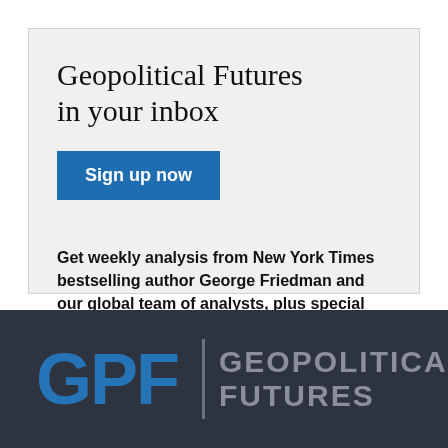Geopolitical Futures in your inbox
Sign up now
Get weekly analysis from New York Times bestselling author George Friedman and our global team of analysts, plus special offers.
[Figure (logo): GPF Geopolitical Futures logo on dark background]